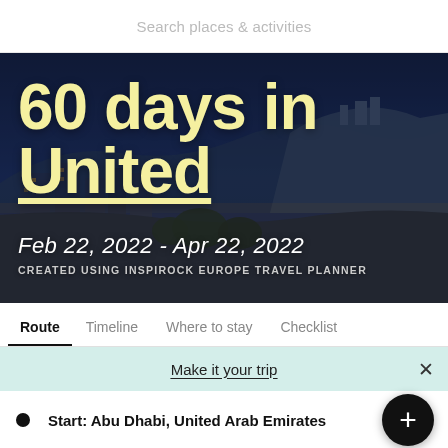Search places & activities
[Figure (screenshot): Hero banner showing Edinburgh city skyline at night with text '60 days in United' overlay in yellow bold font, dates Feb 22, 2022 - Apr 22, 2022, and subtitle 'CREATED USING INSPIROCK EUROPE TRAVEL PLANNER']
Route  Timeline  Where to stay  Checklist
Make it your trip
Start: Abu Dhabi, United Arab Emirates